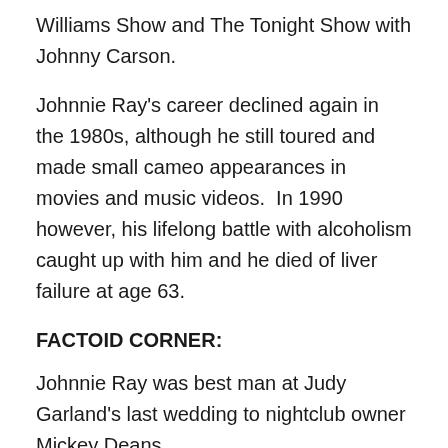Williams Show and The Tonight Show with Johnny Carson.
Johnnie Ray's career declined again in the 1980s, although he still toured and made small cameo appearances in movies and music videos.  In 1990 however, his lifelong battle with alcoholism caught up with him and he died of liver failure at age 63.
FACTOID CORNER:
Johnnie Ray was best man at Judy Garland's last wedding to nightclub owner Mickey Deans.
Ray was arrested not once but twice for soliciting sex from an undercover male police officer, fuelling rumours about his sexuality.